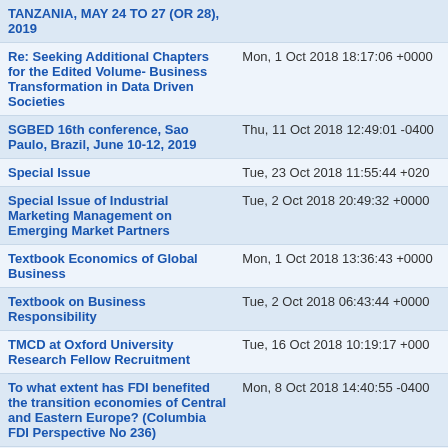| Subject | Date |
| --- | --- |
| TANZANIA, MAY 24 TO 27 (OR 28), 2019 |  |
| Re: Seeking Additional Chapters for the Edited Volume- Business Transformation in Data Driven Societies | Mon, 1 Oct 2018 18:17:06 +0000 |
| SGBED 16th conference, Sao Paulo, Brazil, June 10-12, 2019 | Thu, 11 Oct 2018 12:49:01 -0400 |
| Special Issue | Tue, 23 Oct 2018 11:55:44 +0200 |
| Special Issue of Industrial Marketing Management on Emerging Market Partners | Tue, 2 Oct 2018 20:49:32 +0000 |
| Textbook Economics of Global Business | Mon, 1 Oct 2018 13:36:43 +0000 |
| Textbook on Business Responsibility | Tue, 2 Oct 2018 06:43:44 +0000 |
| TMCD at Oxford University Research Fellow Recruitment | Tue, 16 Oct 2018 10:19:17 +0000 |
| To what extent has FDI benefited the transition economies of Central and Eastern Europe? (Columbia FDI Perspective No 236) | Mon, 8 Oct 2018 14:40:55 -0400 |
| TOC: International Journal of Marketing and Sales Education | Tue, 23 Oct 2018 10:39:05 -0400 |
| UNCTAD's Global Investment Trends Monitor: first half 2018 trends | Tue, 16 Oct 2018 13:36:51 +0000 |
| WAIB 2019 ANNUAL AWARDS (3): ALL NOMINATIONS / APPLICATION | Mon, 15 Oct 2018 23:14:18 +0000 |